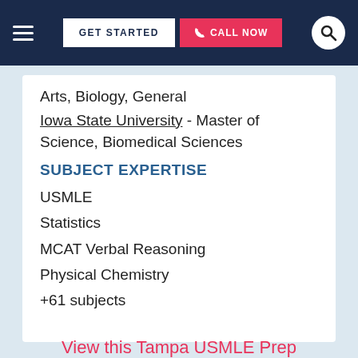GET STARTED | CALL NOW
Arts, Biology, General
Iowa State University - Master of Science, Biomedical Sciences
SUBJECT EXPERTISE
USMLE
Statistics
MCAT Verbal Reasoning
Physical Chemistry
+61 subjects
View this Tampa USMLE Prep Instructor ▶